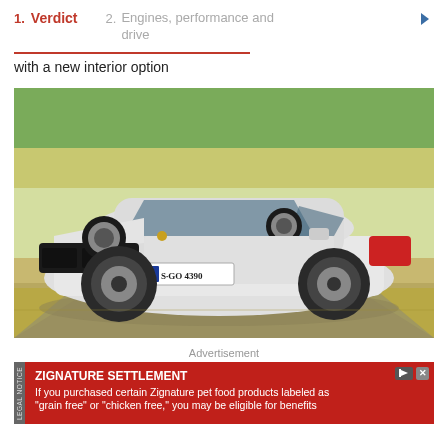1. Verdict  2. Engines, performance and drive
with a new interior option
[Figure (photo): A white Porsche 911 sports car with license plate S GO 4390 and number 60 on the door, driving on a road with fields in the background]
Advertisement
[Figure (infographic): Advertisement banner: ZIGNATURE SETTLEMENT legal notice. If you purchased certain Zignature pet food products labeled as 'grain free' or 'chicken free,' you may be eligible for benefits]